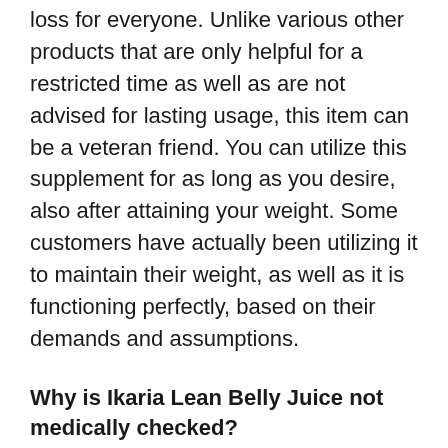loss for everyone. Unlike various other products that are only helpful for a restricted time as well as are not advised for lasting usage, this item can be a veteran friend. You can utilize this supplement for as long as you desire, also after attaining your weight. Some customers have actually been utilizing it to maintain their weight, as well as it is functioning perfectly, based on their demands and assumptions.
Why is Ikaria Lean Belly Juice not medically checked?
Ikaria Lean Belly Juice is not scientifically tested, and the company has not concealed this from the general public. Medical testing seems like the only reliable examination for lots of people, yet it is in